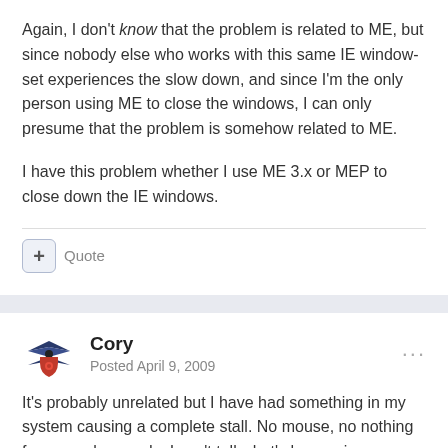Again, I don't know that the problem is related to ME, but since nobody else who works with this same IE window-set experiences the slow down, and since I'm the only person using ME to close the windows, I can only presume that the problem is somehow related to ME.
I have this problem whether I use ME 3.x or MEP to close down the IE windows.
+ Quote
Cory
Posted April 9, 2009
It's probably unrelated but I have had something in my system causing a complete stall. No mouse, no nothing for several seconds. I can't tell what's happening because by the time I can interact it's gone. I have a few utilities running so it could be anything but I've ruled out a few because they were not running...